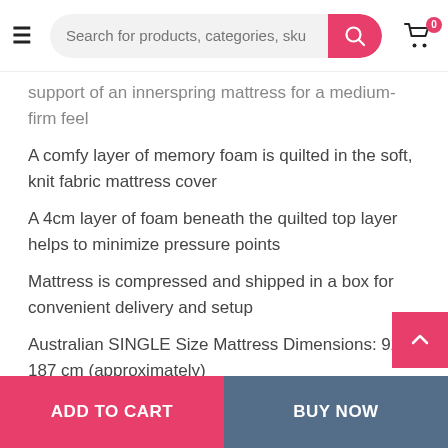Search for products, categories, sku
support of an innerspring mattress for a medium-firm feel
A comfy layer of memory foam is quilted in the soft, knit fabric mattress cover
A 4cm layer of foam beneath the quilted top layer helps to minimize pressure points
Mattress is compressed and shipped in a box for convenient delivery and setup
Australian SINGLE Size Mattress Dimensions: 92 x 187 cm (approximately)
Mattress Height: 20 cm (approximately)
Package Content:
1 x Palermo Single 20cm Memory Foam and Innerspring Hybrid Mattress